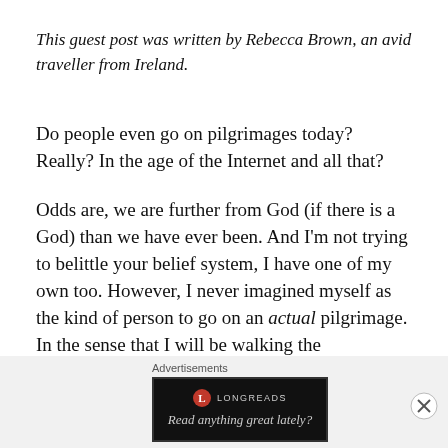This guest post was written by Rebecca Brown, an avid traveller from Ireland.
Do people even go on pilgrimages today? Really? In the age of the Internet and all that?
Odds are, we are further from God (if there is a God) than we have ever been. And I'm not trying to belittle your belief system, I have one of my own too. However, I never imagined myself as the kind of person to go on an actual pilgrimage. In the sense that I will be walking the
Advertisements
[Figure (other): Longreads advertisement banner with logo and tagline 'Read anything great lately?']